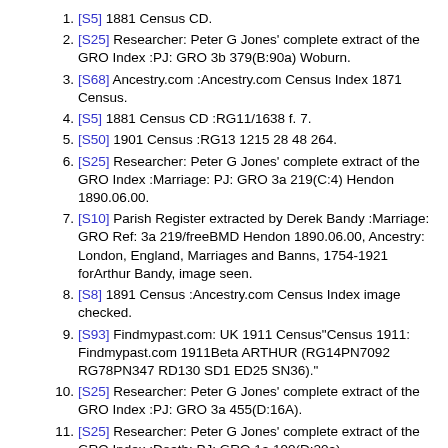[S5] 1881 Census CD.
[S25] Researcher: Peter G Jones' complete extract of the GRO Index :PJ: GRO 3b 379(B:90a) Woburn.
[S68] Ancestry.com :Ancestry.com Census Index 1871 Census.
[S5] 1881 Census CD :RG11/1638 f. 7.
[S50] 1901 Census :RG13 1215 28 48 264.
[S25] Researcher: Peter G Jones' complete extract of the GRO Index :Marriage: PJ: GRO 3a 219(C:4) Hendon 1890.06.00.
[S10] Parish Register extracted by Derek Bandy :Marriage: GRO Ref: 3a 219/freeBMD Hendon 1890.06.00, Ancestry: London, England, Marriages and Banns, 1754-1921 forArthur Bandy, image seen.
[S8] 1891 Census :Ancestry.com Census Index image checked.
[S93] Findmypast.com: UK 1911 Census"Census 1911: Findmypast.com 1911Beta ARTHUR (RG14PN7092 RG78PN347 RD130 SD1 ED25 SN36)."
[S25] Researcher: Peter G Jones' complete extract of the GRO Index :PJ: GRO 3a 455(D:16A).
[S25] Researcher: Peter G Jones' complete extract of the GRO Index :Death: PJ: GRO 1a 190(D:20a).
[S25] Researcher: Peter G Jones' complete extract of the GRO Index :PJ: GRO 3a 215(C:3).
[S6] General Register Office Index Entry :GRO Ref: 3a 186.
[S25] Researcher: Peter G Jones' complete extract of the GRO Index :Birth: PJ: GRO 3a 383(D:9), Death: PJ: GRO 5f 188(D:41).